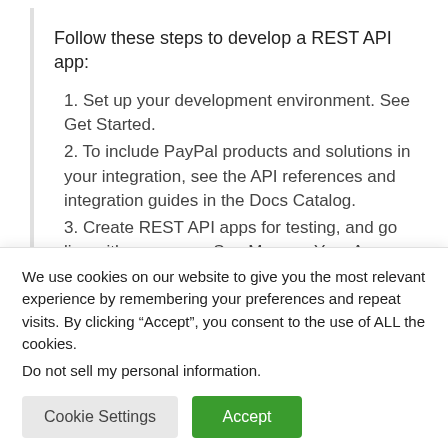Follow these steps to develop a REST API app:
1. Set up your development environment. See Get Started.
2. To include PayPal products and solutions in your integration, see the API references and integration guides in the Docs Catalog.
3. Create REST API apps for testing, and go live with your apps. See Manage Your Apps.
We use cookies on our website to give you the most relevant experience by remembering your preferences and repeat visits. By clicking “Accept”, you consent to the use of ALL the cookies.
Do not sell my personal information.